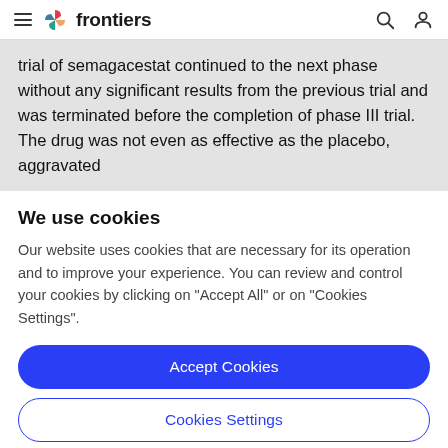frontiers
trial of semagacestat continued to the next phase without any significant results from the previous trial and was terminated before the completion of phase III trial. The drug was not even as effective as the placebo, aggravated
We use cookies
Our website uses cookies that are necessary for its operation and to improve your experience. You can review and control your cookies by clicking on "Accept All" or on "Cookies Settings".
Accept Cookies
Cookies Settings